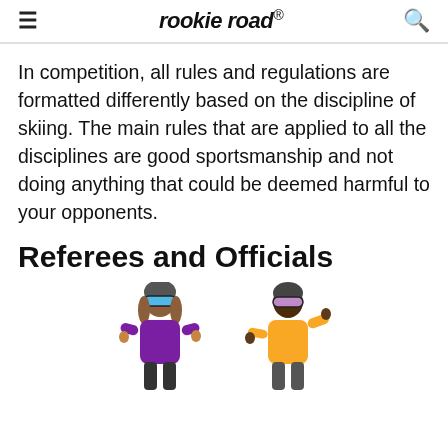rookie road
In competition, all rules and regulations are formatted differently based on the discipline of skiing. The main rules that are applied to all the disciplines are good sportsmanship and not doing anything that could be deemed harmful to your opponents.
Referees and Officials
[Figure (illustration): Two cartoon ski officials/referees: one wearing a purple jacket with blue goggles and brown hair, another wearing a yellow jacket with a helmet and purple goggles, gesturing with one hand.]